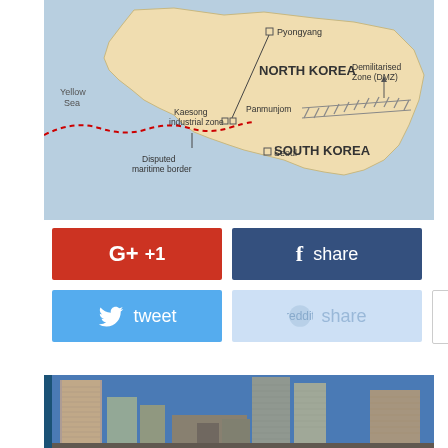[Figure (map): Map showing the Korean Peninsula with North Korea and South Korea labeled. Features include: Yellow Sea label on the left, Pyongyang marked with a square in North Korea, Kaesong industrial zone and Panmunjom marked near the border, Demilitarised Zone (DMZ) shown with hatched lines on the right, Seoul marked with a square in South Korea, and a red dashed line indicating the Disputed maritime border.]
[Figure (screenshot): Social sharing buttons: Google+ +1 (red), Facebook share (dark blue), Twitter tweet (light blue), Reddit share (light blue/faded), and an info button (white with border).]
[Figure (photo): Photograph of modern high-rise skyscrapers and apartment buildings under clear blue sky, likely in South Korea (Seoul).]